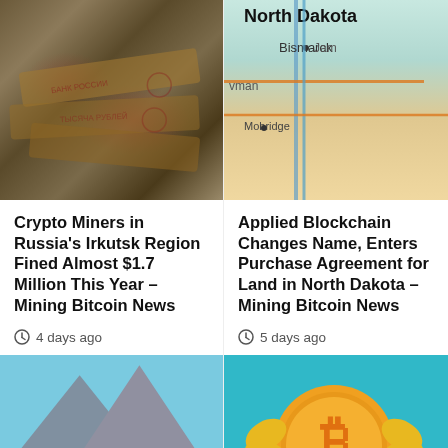[Figure (photo): Russian ruble banknotes, dark background]
[Figure (map): Map of North Dakota showing Bismarck area]
Crypto Miners in Russia's Irkutsk Region Fined Almost $1.7 Million This Year – Mining Bitcoin News
4 days ago
Applied Blockchain Changes Name, Enters Purchase Agreement for Land in North Dakota – Mining Bitcoin News
5 days ago
[Figure (illustration): Animated bug characters in a field]
[Figure (illustration): Bitcoin coin illustration on teal background]